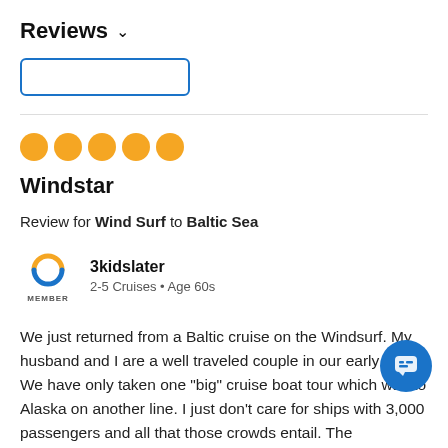Reviews ∨
[Figure (other): Outlined rectangular button, partially visible]
[Figure (other): Five orange circle dots representing a 5-star rating]
Windstar
Review for Wind Surf to Baltic Sea
[Figure (logo): Cruise Critic member badge icon with orange and blue C logo]
3kidslater
2-5 Cruises • Age 60s
We just returned from a Baltic cruise on the Windsurf. My husband and I are a well traveled couple in our early 6... We have only taken one "big" cruise boat tour which was to Alaska on another line. I just don't care for ships with 3,000 passengers and all that those crowds entail. The Windstar...